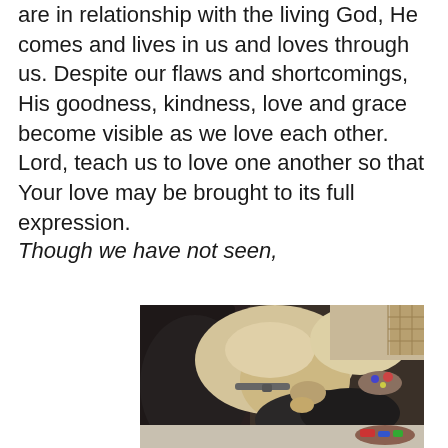are in relationship with the living God, He comes and lives in us and loves through us. Despite our flaws and shortcomings, His goodness, kindness, love and grace become visible as we love each other. Lord, teach us to love one another so that Your love may be brought to its full expression.
Though we have not seen,
[Figure (photo): Two dogs on a dark leather couch — a light-colored (cream/yellow) dog wearing a collar leaning over a smaller dark dog, with toys visible in the background on a light carpet.]